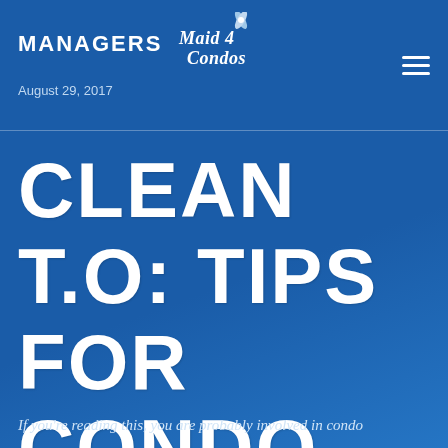MANAGERS
[Figure (logo): Maid 4 Condos cursive logo with leaf/sparkle icon]
August 29, 2017
CLEAN T.O: TIPS FOR CONDO MANAGERS
If you're reading this, you are probably involved in condo